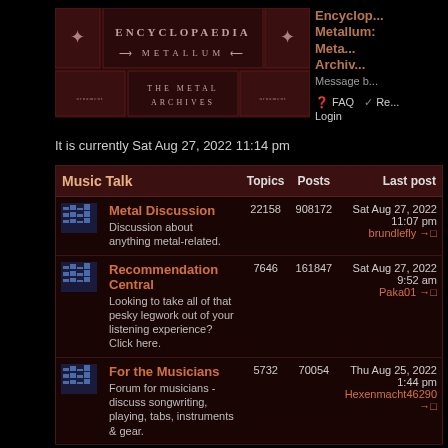[Figure (logo): Encyclopaedia Metallum - The Metal Archives logo banner, dark red ornate design]
Encyclopaedia Metallum: The Metal Archives - Message b...
FAQ   Register   Login
It is currently Sat Aug 27, 2022 11:14 pm
| Music Talk |  | Topics | Posts | Last post |
| --- | --- | --- | --- | --- |
| [icon] | Metal Discussion
Discussion about anything metal-related. | 22158 | 908172 | Sat Aug 27, 2022 11:07 pm
brundlefly →□ |
| [icon] | Recommendation Central
Looking to take all of that pesky legwork out of your listening experience? Click here. | 7646 | 161847 | Sat Aug 27, 2022 9:52 am
Paka01 →□ |
| [icon] | For the Musicians
Forum for musicians - discuss songwriting, playing, tabs, instruments & gear. | 5732 | 70054 | Thu Aug 25, 2022 1:44 pm
Hexenmacht46290 →□ |